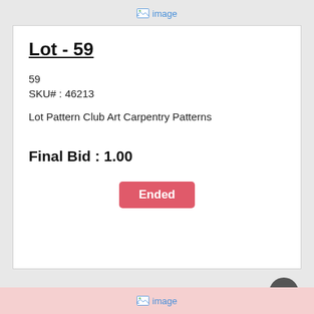[Figure (other): Broken image placeholder icon with text 'image' at top of page]
Lot - 59
59
SKU# : 46213
Lot Pattern Club Art Carpentry Patterns
Final Bid : 1.00
Ended
[Figure (other): Broken image placeholder icon with text 'image' at bottom of page]